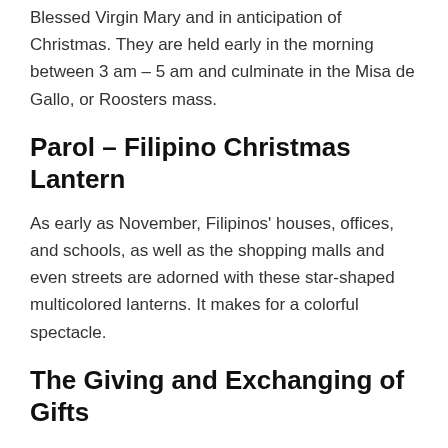Blessed Virgin Mary and in anticipation of Christmas. They are held early in the morning between 3 am – 5 am and culminate in the Misa de Gallo, or Roosters mass.
Parol – Filipino Christmas Lantern
As early as November, Filipinos' houses, offices, and schools, as well as the shopping malls and even streets are adorned with these star-shaped multicolored lanterns. It makes for a colorful spectacle.
The Giving and Exchanging of Gifts
One of the Filipino traditions during Christmas is the